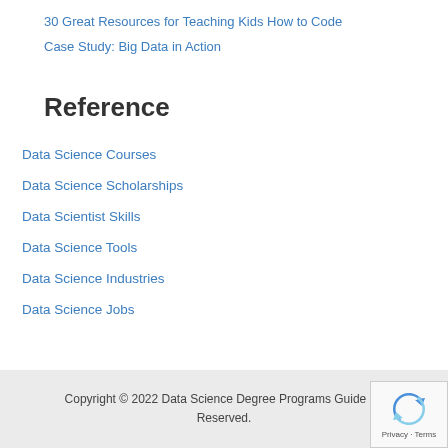30 Great Resources for Teaching Kids How to Code
Case Study: Big Data in Action
Reference
Data Science Courses
Data Science Scholarships
Data Scientist Skills
Data Science Tools
Data Science Industries
Data Science Jobs
Copyright © 2022 Data Science Degree Programs Guide | All Rights Reserved.